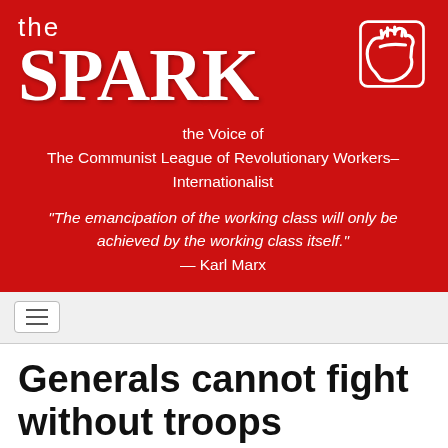THE SPARK — the Voice of The Communist League of Revolutionary Workers–Internationalist
"The emancipation of the working class will only be achieved by the working class itself." — Karl Marx
Generals cannot fight without troops
Nov 19, 2007